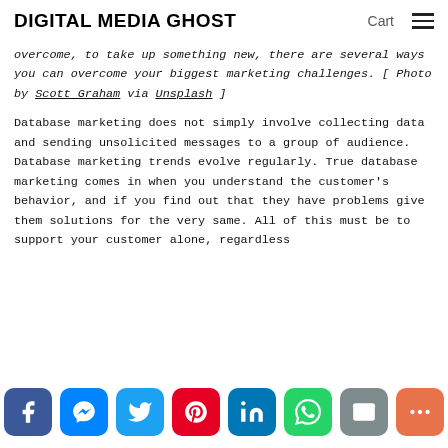DIGITAL MEDIA GHOST   Cart ☰
overcome, to take up something new, there are several ways you can overcome your biggest marketing challenges. [ Photo by Scott Graham via Unsplash ]
Database marketing does not simply involve collecting data and sending unsolicited messages to a group of audience. Database marketing trends evolve regularly. True database marketing comes in when you understand the customer's behavior, and if you find out that they have problems give them solutions for the very same. All of this must be to support your customer alone, regardless